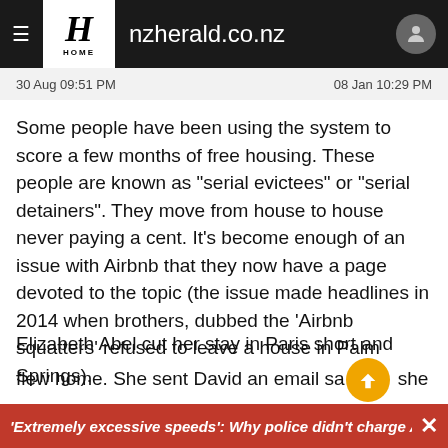nzherald.co.nz
30 Aug 09:51 PM    08 Jan 10:29 PM
Some people have been using the system to score a few months of free housing. These people are known as "serial evictees" or "serial detainers". They move from house to house never paying a cent. It's become enough of an issue with Airbnb that they now have a page devoted to the topic (the issue made headlines in 2014 when brothers, dubbed the 'Airbnb squatters' refused to leave a house in Palm Springs).
Elizabeth Abel cut her stay in Paris short and flew home. She sent David an email sa... she wanted to move
'Extremely excessive speeds': Why police didn't charge A